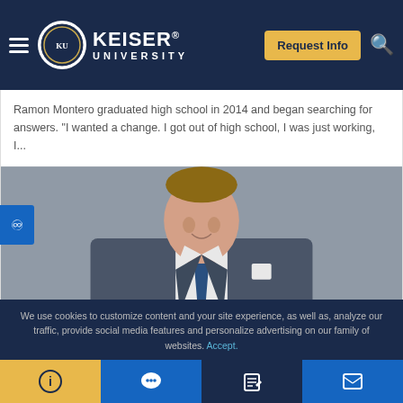Keiser University — Navigation bar with logo, hamburger menu, Request Info button, and search icon
Ramon Montero graduated high school in 2014 and began searching for answers. “I wanted a change. I got out of high school, I was just working, I...
[Figure (photo): Professional headshot of a man in a dark grey suit with a blue tie and white pocket square, smiling against a grey background]
We use cookies to customize content and your site experience, as well as, analyze our traffic, provide social media features and personalize advertising on our family of websites. Accept.
Bottom toolbar with four tabs: info (yellow), chat (blue), edit (dark blue), and message (blue)